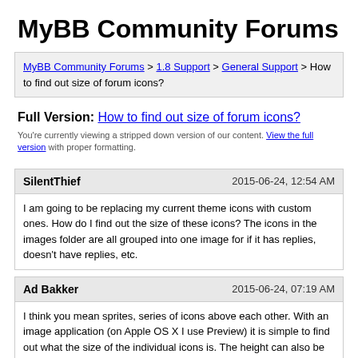MyBB Community Forums
MyBB Community Forums > 1.8 Support > General Support > How to find out size of forum icons?
Full Version: How to find out size of forum icons?
You're currently viewing a stripped down version of our content. View the full version with proper formatting.
SilentThief  2015-06-24, 12:54 AM
I am going to be replacing my current theme icons with custom ones. How do I find out the size of these icons? The icons in the images folder are all grouped into one image for if it has replies, doesn't have replies, etc.
Ad Bakker  2015-06-24, 07:19 AM
I think you mean sprites, series of icons above each other. With an image application (on Apple OS X I use Preview) it is simple to find out what the size of the individual icons is. The height can also be deduced from the CSS in which they are used, you see a vertical step size which is equal to the height of the icons. When you have problems with that, post the sprites which you want analyzed.